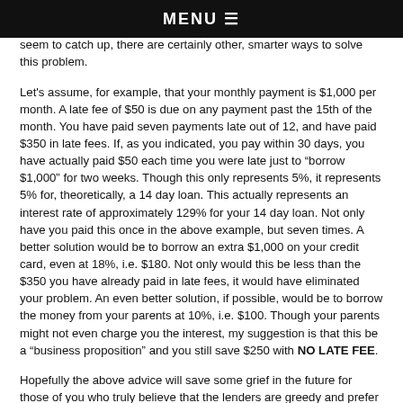MENU
point ... first place ... and can't seem to catch up, there are certainly other, smarter ways to solve this problem.
Let's assume, for example, that your monthly payment is $1,000 per month. A late fee of $50 is due on any payment past the 15th of the month. You have paid seven payments late out of 12, and have paid $350 in late fees. If, as you indicated, you pay within 30 days, you have actually paid $50 each time you were late just to “borrow $1,000” for two weeks. Though this only represents 5%, it represents 5% for, theoretically, a 14 day loan. This actually represents an interest rate of approximately 129% for your 14 day loan. Not only have you paid this once in the above example, but seven times. A better solution would be to borrow an extra $1,000 on your credit card, even at 18%, i.e. $180. Not only would this be less than the $350 you have already paid in late fees, it would have eliminated your problem. An even better solution, if possible, would be to borrow the money from your parents at 10%, i.e. $100. Though your parents might not even charge you the interest, my suggestion is that this be a “business proposition” and you still save $250 with NO LATE FEE.
Hopefully the above advice will save some grief in the future for those of you who truly believe that the lenders are greedy and prefer the late fee